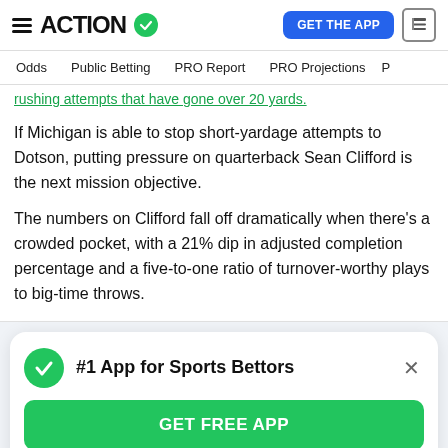ACTION — GET THE APP
Odds | Public Betting | PRO Report | PRO Projections
rushing attempts that have gone over 20 yards.
If Michigan is able to stop short-yardage attempts to Dotson, putting pressure on quarterback Sean Clifford is the next mission objective.
The numbers on Clifford fall off dramatically when there's a crowded pocket, with a 21% dip in adjusted completion percentage and a five-to-one ratio of turnover-worthy plays to big-time throws.
[Figure (infographic): #1 App for Sports Bettors — GET FREE APP modal card with green checkmark and close button]
Sean Paige, measuring when a team is stopped at or before...